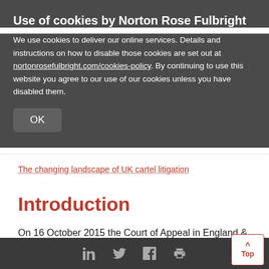Use of cookies by Norton Rose Fulbright
We use cookies to deliver our online services. Details and instructions on how to disable those cookies are set out at nortonrosefulbright.com/cookies-policy. By continuing to use this website you agree to our use of our cookies unless you have disabled them.
OK
The changing landscape of UK cartel litigation
Introduction
On 16 October 2015 the Court of Appeal in England & Wales handed down its judgment in Emerald Supplies Ltd v British Airways Plc [2015] EWCA Civ...
Social media icons and Top button